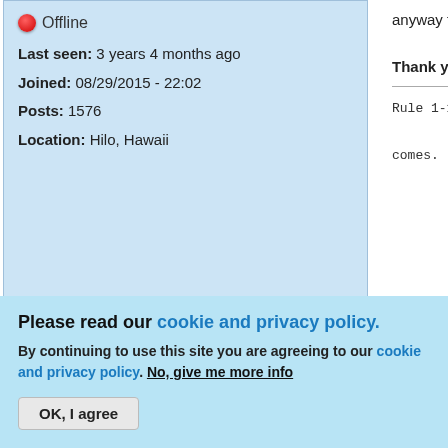Offline
Last seen: 3 years 4 months ago
Joined: 08/29/2015 - 22:02
Posts: 1576
Location: Hilo, Hawaii
anyway to purchase.
Thank you
Rule 1-1 as
comes.
Top
Fri, 02/05/2016 - 04:39
fasttech
1c
Please read our cookie and privacy policy.
By continuing to use this site you are agreeing to our cookie and privacy policy. No, give me more info
OK, I agree